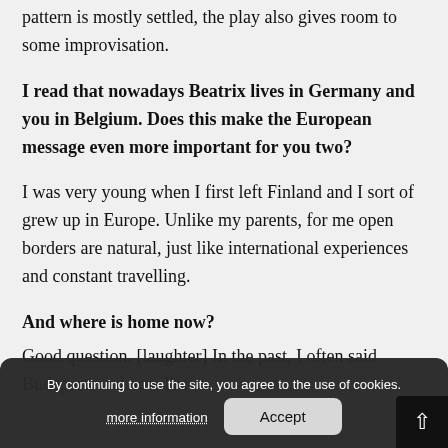pattern is mostly settled, the play also gives room to some improvisation.
I read that nowadays Beatrix lives in Germany and you in Belgium. Does this make the European message even more important for you two?
I was very young when I first left Finland and I sort of grew up in Europe. Unlike my parents, for me open borders are natural, just like international experiences and constant travelling.
And where is home now?
Good question. [laughter] In the past, I often said Budapest, and now I'm
By continuing to use the site, you agree to the use of cookies.
more information
Accept